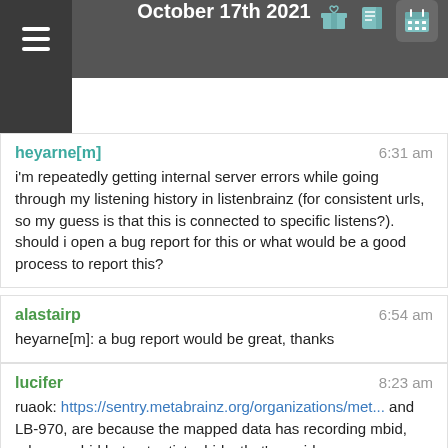October 17th 2021
heyarne[m] 6:31 am
i'm repeatedly getting internal server errors while going through my listening history in listenbrainz (for consistent urls, so my guess is that this is connected to specific listens?). should i open a bug report for this or what would be a good process to report this?
alastairp 6:54 am
heyarne[m]: a bug report would be great, thanks
lucifer 8:23 am
ruaok: https://sentry.metabrainz.org/organizations/met... and LB-970, are because the mapped data has recording mbid, release mbid but not artist mbids. that's werid..
BrainzBot 8:23 am
LB-970: Internal Server Errors when Going Through Listening